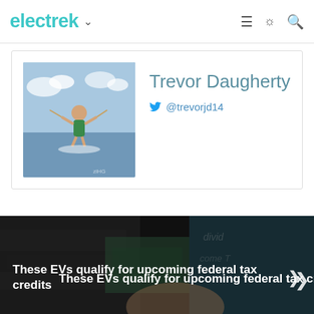electrek
[Figure (photo): Profile photo of Trevor Daugherty water skiing]
Trevor Daugherty
@trevorjd14
[Figure (photo): Banner image showing hands holding financial documents/tax forms with overlay text]
These EVs qualify for upcoming federal tax credits
You must be logged in to post a comment.